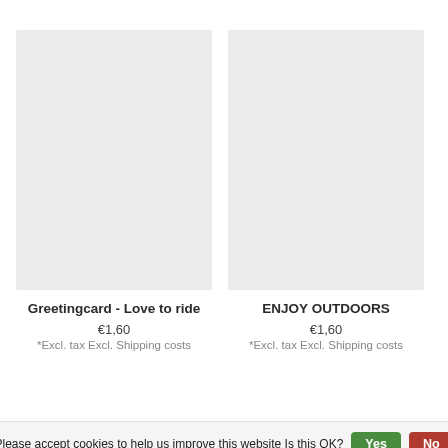[Figure (photo): Product image placeholder for Greetingcard - Love to ride, light gray rectangle]
Greetingcard - Love to ride
€1,60
*Excl. tax Excl. Shipping costs
[Figure (photo): Product image placeholder for ENJOY OUTDOORS, light gray rectangle]
ENJOY OUTDOORS
€1,60
*Excl. tax Excl. Shipping costs
Please accept cookies to help us improve this website Is this OK? Yes No
More on cookies »